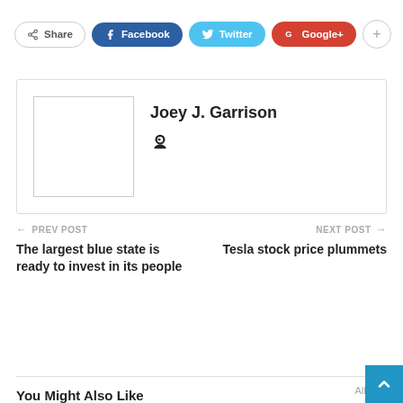[Figure (screenshot): Social share bar with Share, Facebook, Twitter, Google+, and plus buttons]
Joey J. Garrison
PREV POST
The largest blue state is ready to invest in its people
NEXT POST
Tesla stock price plummets
You Might Also Like